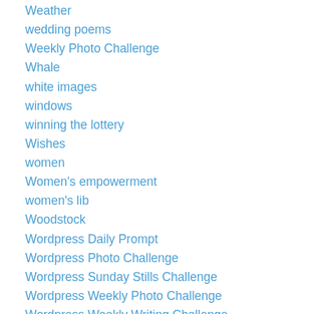Weather
wedding poems
Weekly Photo Challenge
Whale
white images
windows
winning the lottery
Wishes
women
Women's empowerment
women's lib
Woodstock
Wordpress Daily Prompt
Wordpress Photo Challenge
Wordpress Sunday Stills Challenge
Wordpress Weekly Photo Challenge
Wordpress Weekly Writing Challenge
Words
work
World Community